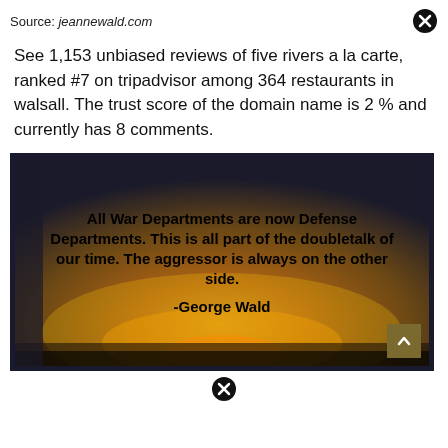Source: jeannewald.com
See 1,153 unbiased reviews of five rivers a la carte, ranked #7 on tripadvisor among 364 restaurants in walsall. The trust score of the domain name is 2 % and currently has 8 comments.
[Figure (photo): A motivational quote image with a golden sunset background. Bold black text reads: 'All War Departments are now Defense Departments. This is all part of the doubletalk of our time. The aggressor is always on the other side.' Attribution: -George Wald. A dark arrow-up button is in the bottom right corner.]